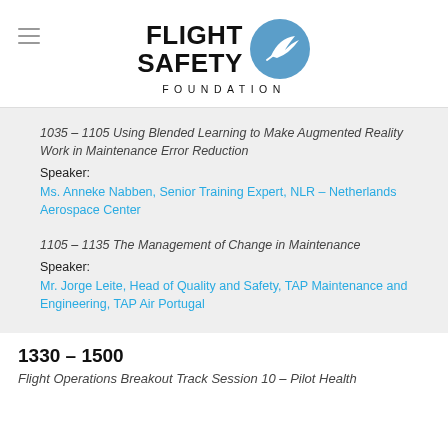[Figure (logo): Flight Safety Foundation logo with circular emblem and text]
1035 – 1105 Using Blended Learning to Make Augmented Reality Work in Maintenance Error Reduction
Speaker:
Ms. Anneke Nabben, Senior Training Expert, NLR – Netherlands Aerospace Center
1105 – 1135 The Management of Change in Maintenance
Speaker:
Mr. Jorge Leite, Head of Quality and Safety, TAP Maintenance and Engineering, TAP Air Portugal
1330 – 1500
Flight Operations Breakout Track Session 10 – Pilot Health